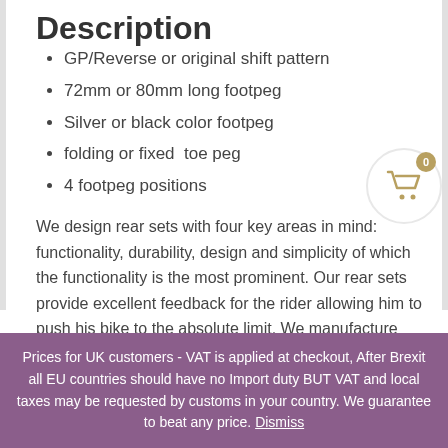Description
GP/Reverse or original shift pattern
72mm or 80mm long footpeg
Silver or black color footpeg
folding or fixed  toe peg
4 footpeg positions
We design rear sets with four key areas in mind: functionality, durability, design and simplicity of which the functionality is the most prominent. Our rear sets provide excellent feedback for the rider allowing him to push his bike to the absolute limit. We manufacture our rear sets from
[Figure (illustration): Shopping cart icon inside a circular border with a gold badge showing the number 0]
Prices for UK customers - VAT is applied at checkout, After Brexit all EU countries should have no Import duty BUT VAT and local taxes may be requested by customs in your country. We guarantee to beat any price. Dismiss